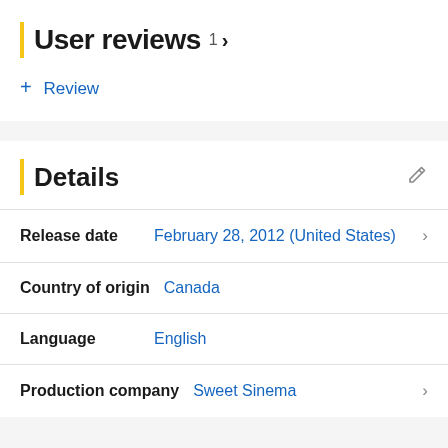User reviews 1 >
+ Review
Details
Release date  February 28, 2012 (United States)
Country of origin  Canada
Language  English
Production company  Sweet Sinema